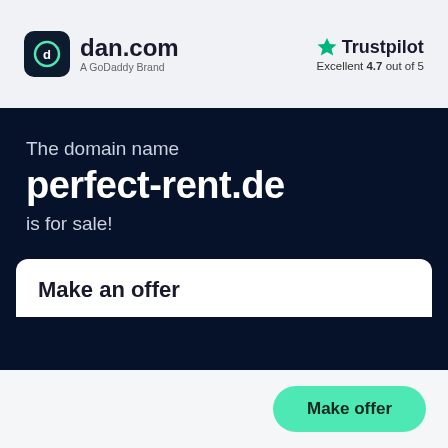dan.com — A GoDaddy Brand | Trustpilot Excellent 4.7 out of 5
The domain name perfect-rent.de is for sale!
Make an offer
Make offer